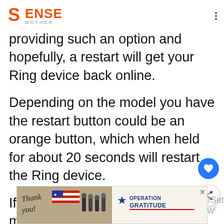SENSE MOTHER
providing such an option and hopefully, a restart will get your Ring device back online.
Depending on the model you have the restart button could be an orange button, which when held for about 20 seconds will restart the Ring device.
If you are using the Ring pro model, a
[Figure (photo): Advertisement banner: Thank you with American flag imagery and Operation Gratitude logo with firefighters photo]